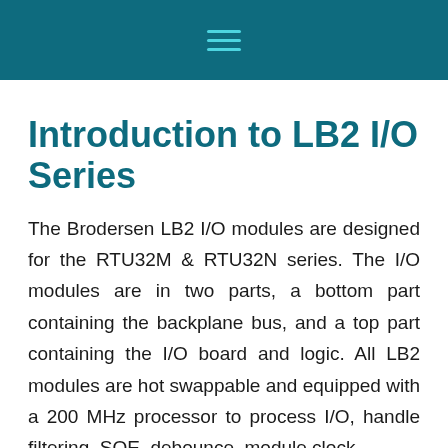☰
Introduction to LB2 I/O Series
The Brodersen LB2 I/O modules are designed for the RTU32M & RTU32N series. The I/O modules are in two parts, a bottom part containing the backplane bus, and a top part containing the I/O board and logic. All LB2 modules are hot swappable and equipped with a 200 MHz processor to process I/O, handle filtering, SOE, debounce, module clock